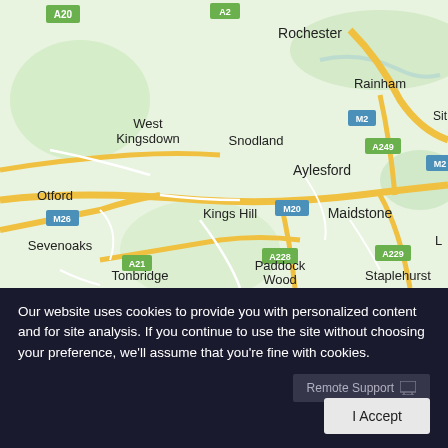[Figure (map): Google Maps screenshot showing area of Kent, England including towns: Rochester, Rainham, West Kingsdown, Snodland, Aylesford, Maidstone, Otford, Sevenoaks, Kings Hill, Tonbridge, Paddock Wood, Staplehurst. Roads shown include A20, M2, M26, M20, A249, A228, A229, A21.]
Our website uses cookies to provide you with personalized content and for site analysis. If you continue to use the site without choosing your preference, we'll assume that you're fine with cookies.
Remote Support
I Accept